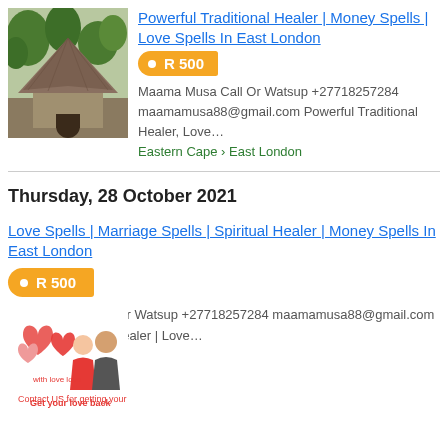[Figure (photo): Thumbnail image of a traditional thatched hut/structure surrounded by trees]
Powerful Traditional Healer | Money Spells | Love Spells In East London
R 500
Maama Musa Call Or Watsup +27718257284 maamamusa88@gmail.com Powerful Traditional Healer, Love…
Eastern Cape › East London
Thursday, 28 October 2021
[Figure (photo): Thumbnail image with hearts and a couple, text reading 'Get your love back']
Love Spells | Marriage Spells | Spiritual Healer | Money Spells In East London
R 500
Maama Musa Call Or Watsup +27718257284 maamamusa88@gmail.com Powerful Spiritual Healer | Love…